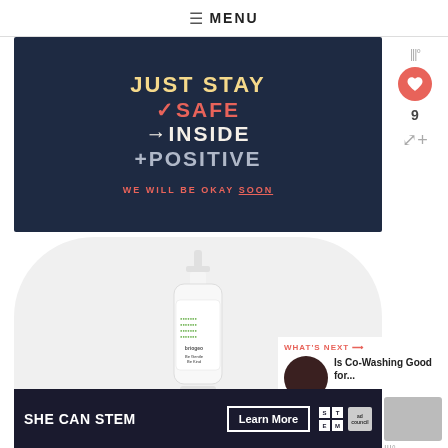≡ MENU
[Figure (illustration): Dark navy blue banner with motivational text in stylized handwriting: 'JUST STAY / ✓SAFE / →INSIDE / +POSITIVE' and subtitle 'WE WILL BE OKAY SOON']
[Figure (photo): Briogeo Be Gentle Be Kind shampoo bottle with pump dispenser on light gray rounded background]
WHAT'S NEXT → Is Co-Washing Good for...
[Figure (photo): Ad banner: SHE CAN STEM — Learn More — STEM logo and Ad Council logo]
[Figure (photo): Gray thumbnail image on right side]